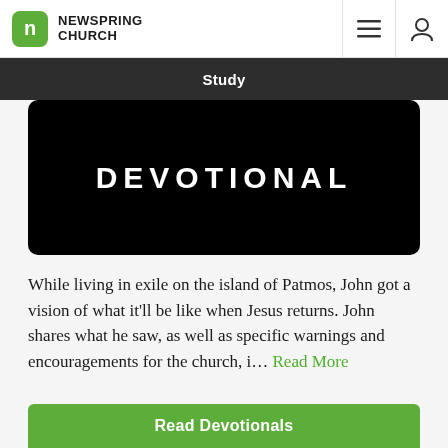NEWSPRING CHURCH
Study
[Figure (screenshot): Black banner image with white bold text reading DEVOTIONAL on dark background, rounded corners]
While living in exile on the island of Patmos, John got a vision of what it'll be like when Jesus returns. John shares what he saw, as well as specific warnings and encouragements for the church, i... Read More
Read Devotionals